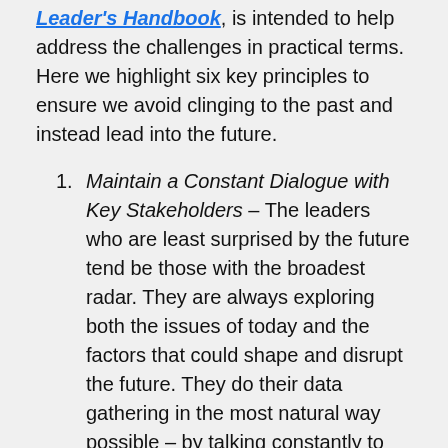Leader's Handbook, is intended to help address the challenges in practical terms. Here we highlight six key principles to ensure we avoid clinging to the past and instead lead into the future.
Maintain a Constant Dialogue with Key Stakeholders – The leaders who are least surprised by the future tend be those with the broadest radar. They are always exploring both the issues of today and the factors that could shape and disrupt the future. They do their data gathering in the most natural way possible – by talking constantly to customers,